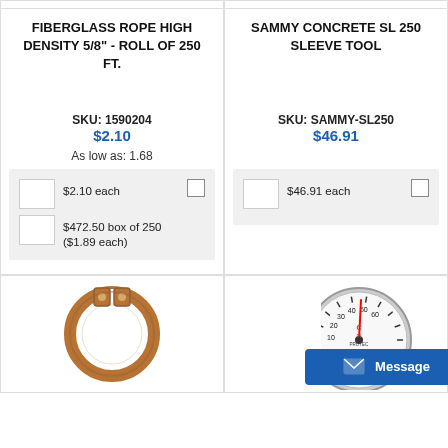FIBERGLASS ROPE HIGH DENSITY 5/8" - ROLL OF 250 FT.
SAMMY CONCRETE SL 250 SLEEVE TOOL
SKU: 1590204
$2.10
SKU: SAMMY-SL250
$46.91
As low as: 1.68
$2.10 each
$472.50 box of 250
($1.89 each)
$46.91 each
[Figure (photo): Pipe clamp / anchor ring, bronze/copper colored, circular shape with two bolt holes]
[Figure (photo): Circular pressure gauge with white face, scale 10-60, red needle, text reads C FI PROTEC 232-694-2490]
Message